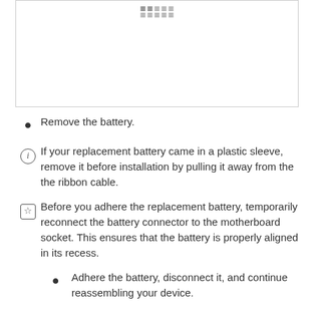[Figure (other): Placeholder image box with dot grid pattern at the top, showing a device repair step]
Remove the battery.
If your replacement battery came in a plastic sleeve, remove it before installation by pulling it away from the the ribbon cable.
Before you adhere the replacement battery, temporarily reconnect the battery connector to the motherboard socket. This ensures that the battery is properly aligned in its recess.
Adhere the battery, disconnect it, and continue reassembling your device.